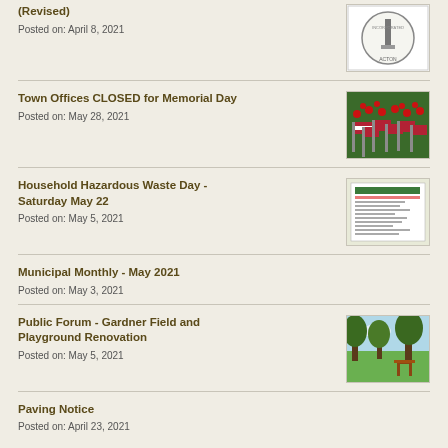(Revised)
Posted on: April 8, 2021
Town Offices CLOSED for Memorial Day
Posted on: May 28, 2021
Household Hazardous Waste Day - Saturday May 22
Posted on: May 5, 2021
Municipal Monthly - May 2021
Posted on: May 3, 2021
Public Forum - Gardner Field and Playground Renovation
Posted on: May 5, 2021
Paving Notice
Posted on: April 23, 2021